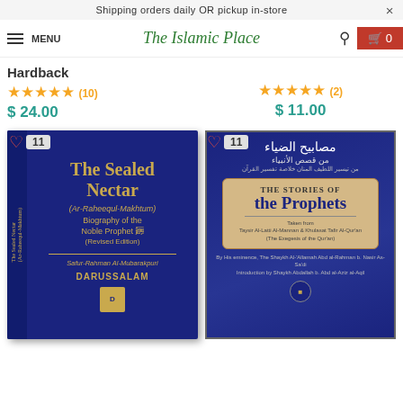Shipping orders daily OR pickup in-store
The Islamic Place - MENU - Search - Cart 0
Hardback
★★★★★ (10) $24.00
★★★★★ (2) $11.00
[Figure (photo): The Sealed Nectar (Ar-Raheequl-Makhtum) Biography of the Noble Prophet (Revised Edition) by Safur-Rahman Al-Mubarakpuri - DARUSSALAM hardback book]
[Figure (photo): The Stories of the Prophets book cover with Arabic text and decorative blue and beige design]